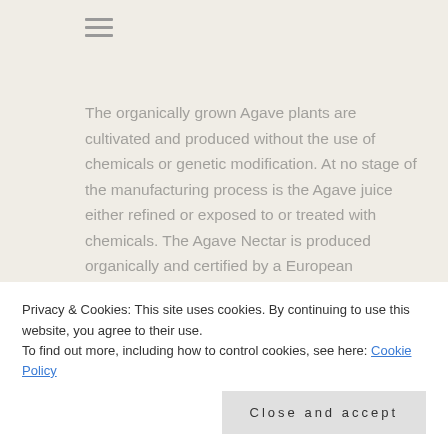The organically grown Agave plants are cultivated and produced without the use of chemicals or genetic modification. At no stage of the manufacturing process is the Agave juice either refined or exposed to or treated with chemicals. The Agave Nectar is produced organically and certified by a European recognised body. The product has full traceability.
For every batch produced we receive full certificates of analysis and samples for
Analytical Consulting Chemist.
Privacy & Cookies: This site uses cookies. By continuing to use this website, you agree to their use. To find out more, including how to control cookies, see here: Cookie Policy
Close and accept